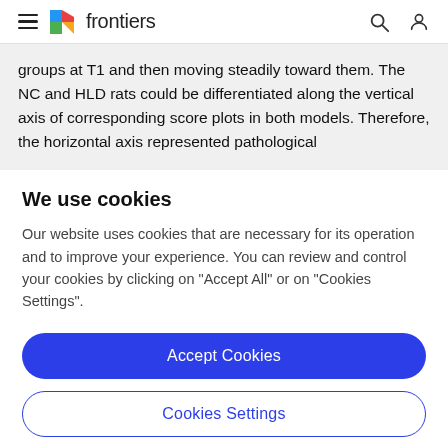frontiers
groups at T1 and then moving steadily toward them. The NC and HLD rats could be differentiated along the vertical axis of corresponding score plots in both models. Therefore, the horizontal axis represented pathological
We use cookies
Our website uses cookies that are necessary for its operation and to improve your experience. You can review and control your cookies by clicking on "Accept All" or on "Cookies Settings".
Accept Cookies
Cookies Settings